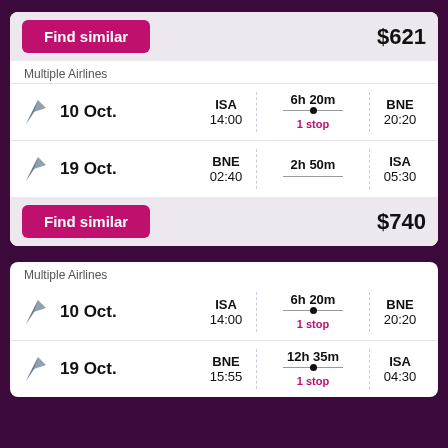Find similar  $621
Multiple Airlines
10 Oct.  ISA 14:00  6h 20m 1 stop  BNE 20:20
19 Oct.  BNE 02:40  2h 50m  ISA 05:30
Find similar  $740
Multiple Airlines
10 Oct.  ISA 14:00  6h 20m 1 stop  BNE 20:20
19 Oct.  BNE 15:55  12h 35m 1 stop  ISA 04:30